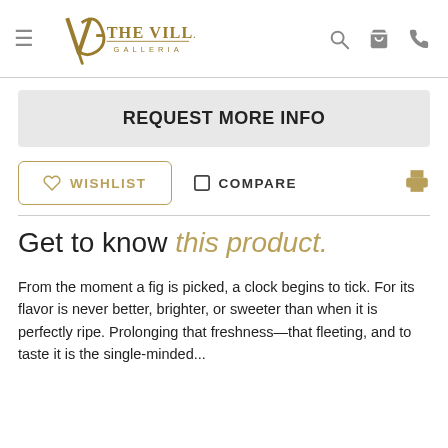The Villa Galleria - navigation header with hamburger menu, logo, search, cart, and phone icons
REQUEST MORE INFO
WISHLIST   COMPARE
Get to know this product.
From the moment a fig is picked, a clock begins to tick. For its flavor is never better, brighter, or sweeter than when it is perfectly ripe. Prolonging that freshness—that fleeting...